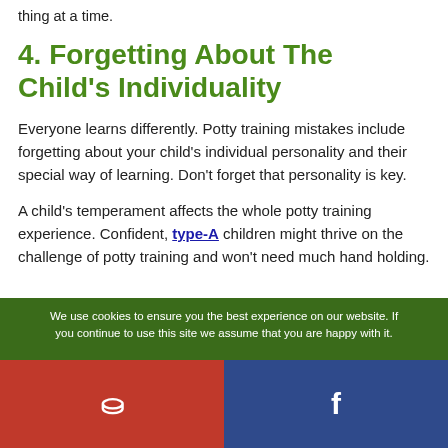thing at a time.
4. Forgetting About The Child's Individuality
Everyone learns differently. Potty training mistakes include forgetting about your child's individual personality and their special way of learning. Don't forget that personality is key.
A child's temperament affects the whole potty training experience. Confident, type-A children might thrive on the challenge of potty training and won't need much hand holding.
We use cookies to ensure you the best experience on our website. If you continue to use this site we assume that you are happy with it.
[Figure (infographic): Social share bar with Pinterest (red) and Facebook (dark blue) buttons showing respective icons]